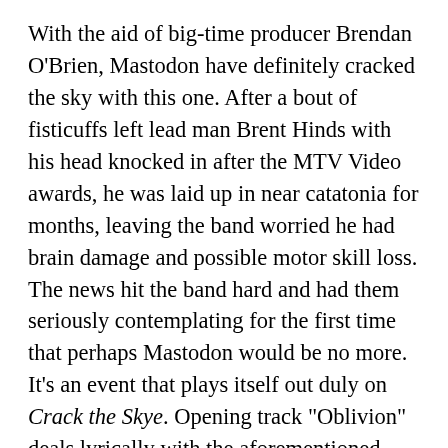With the aid of big-time producer Brendan O'Brien, Mastodon have definitely cracked the sky with this one. After a bout of fisticuffs left lead man Brent Hinds with his head knocked in after the MTV Video awards, he was laid up in near catatonia for months, leaving the band worried he had brain damage and possible motor skill loss. The news hit the band hard and had them seriously contemplating for the first time that perhaps Mastodon would be no more. It's an event that plays itself out duly on Crack the Skye. Opening track "Oblivion" deals lyrically with the aforementioned physically disabled astral traveler, who to escape his own feelings of being inextricably earthbound, psychically casts himself out into the astral plane through mind and body. It stands to reason that this trope is built on the feelings and possible out-of-body experiences Hinds experienced